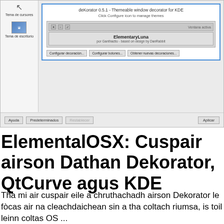[Figure (screenshot): Screenshot of a KDE window decoration settings panel showing deKorator 0.5.1 - Themeable window decorator for KDE, with left panel showing cursor and desktop theme icons, and buttons for Configurar decoración, Configurar botones, Obtener nuevas decoraciones. Bottom bar has Ayuda, Predeterminados, Restablecer, and Aplicar buttons.]
ElementalOSX: Cuspair airson Dathan Dekorator, QtCurve agus KDE
Tha mi air cuspair eile a chruthachadh airson Dekorator le fòcas air na cleachdaichean sin a tha coltach riumsa, is toil leinn coltas OS ...